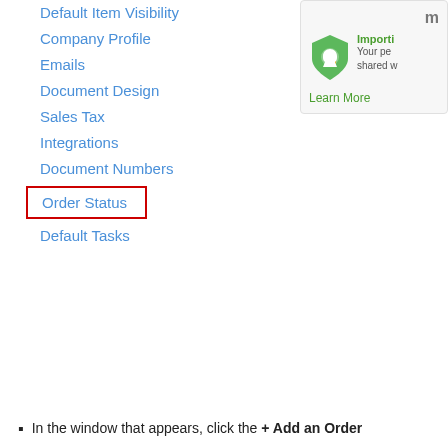Default Item Visibility
Company Profile
Emails
Document Design
Sales Tax
Integrations
Document Numbers
Order Status
Default Tasks
[Figure (screenshot): A panel showing a green shield icon with a lock, bold green text 'Importi', body text 'Your pe shared w', and a green 'Learn More' link.]
In the window that appears, click the + Add an Order